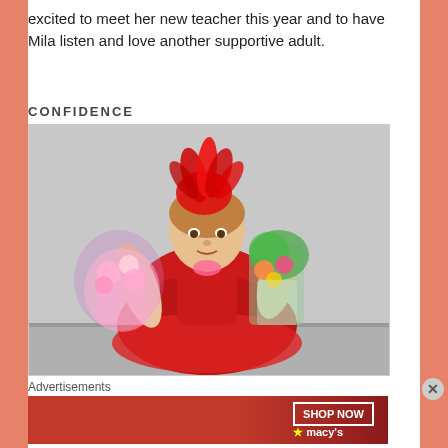excited to meet her new teacher this year and to have Mila listen and love another supportive adult.
CONFIDENCE
[Figure (photo): A young girl dressed in a red sequined dress with a large red feathered headpiece, holding two bouquets of flowers, posing against a light gray background.]
Advertisements
[Figure (screenshot): Macy's advertisement banner with red background. Text reads 'KISS BORING LIPS GOODBYE' with a 'SHOP NOW' button and Macy's logo with star.]